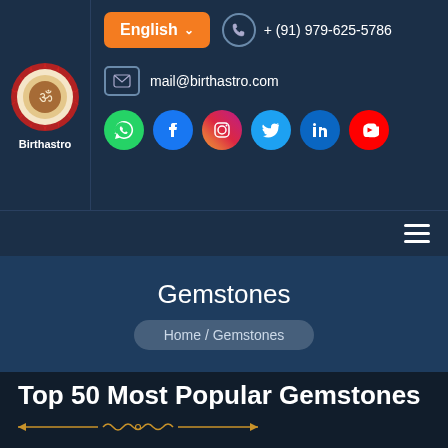[Figure (logo): Birthastro circular logo with red sunburst border and decorative center, with text 'Birthastro' below]
English
+ (91) 979-625-5786
mail@birthastro.com
[Figure (infographic): Social media icons row: WhatsApp (green), Facebook (blue), Instagram (gradient), Twitter (light blue), LinkedIn (blue), YouTube (red)]
[Figure (infographic): Hamburger menu icon (three horizontal lines)]
Gemstones
Home / Gemstones
Top 50 Most Popular Gemstones
[Figure (illustration): Decorative golden ornamental divider with arrows and scroll motif]